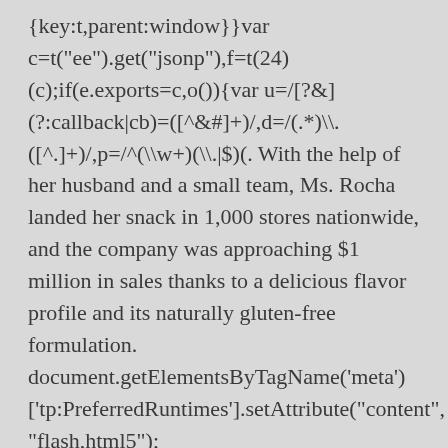{key:t,parent:window}}var c=t("ee").get("jsonp"),f=t(24)(c);if(e.exports=c,o()){var u=/[?&](?:callback|cb)=([^&#]+)/,d=/(.*)\.([^.]+)/,p=/^(\w+)(\.|$)(. With the help of her husband and a small team, Ms. Rocha landed her snack in 1,000 stores nationwide, and the company was approaching $1 million in sales thanks to a delicious flavor profile and its naturally gluten-free formulation. document.getElementsByTagName('meta')['tp:PreferredRuntimes'].setAttribute("content", "flash,html5"); mps.scodePath="//fm.cnbc.com/applications/cnbc v=1.6.4.1"; mps._queue.mpsinit = mps._queue.mpsinit || []; Shark Tank Blog is an